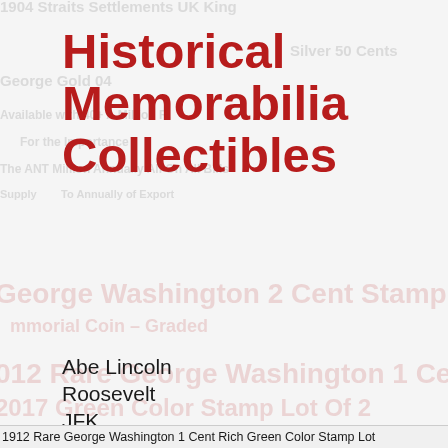Historical Memorabilia Collectibles
Abe Lincoln
Roosevelt
JFK
Benjamin Franklin
Paul Revere
Betsy Ross
1912 Rare George Washington 1 Cent Rich Green Color Stamp Lot